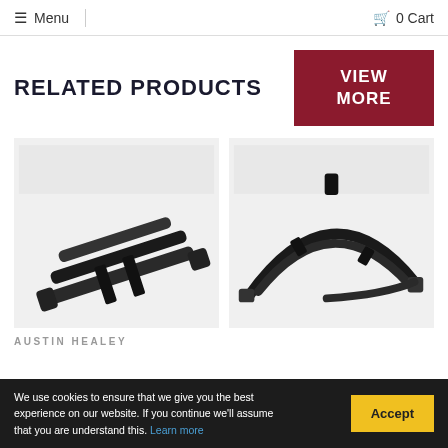≡ Menu  🛒 0 Cart
RELATED PRODUCTS
[Figure (other): Red button with white text VIEW MORE]
[Figure (photo): Black leaf spring automotive suspension parts, two springs crossed]
[Figure (photo): Black curved leaf spring automotive suspension part on white/grey background]
AUSTIN HEALEY
We use cookies to ensure that we give you the best experience on our website. If you continue we'll assume that you are understand this. Learn more
Accept